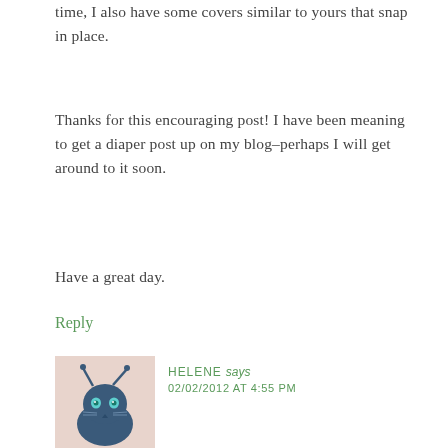time, I also have some covers similar to yours that snap in place.
Thanks for this encouraging post! I have been meaning to get a diaper post up on my blog–perhaps I will get around to it soon.
Have a great day.
Reply
[Figure (illustration): Avatar image of a cartoon cat/alien character with antenna, teal eyes, dark blue color, on a pink/beige background]
HELENE says
02/02/2012 AT 4:55 PM